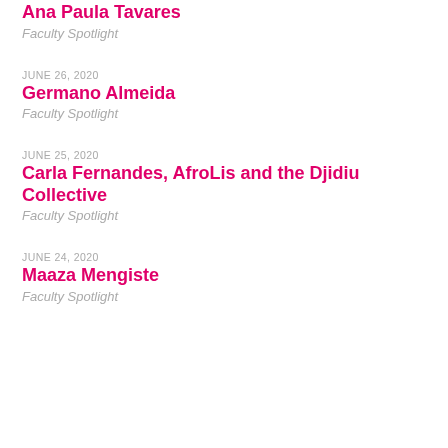Ana Paula Tavares
Faculty Spotlight
JUNE 26, 2020
Germano Almeida
Faculty Spotlight
JUNE 25, 2020
Carla Fernandes, AfroLis and the Djidiu Collective
Faculty Spotlight
JUNE 24, 2020
Maaza Mengiste
Faculty Spotlight